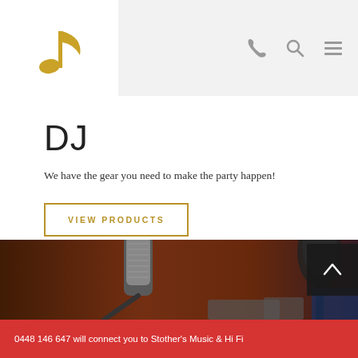[Figure (logo): Golden music note icon on white background]
[Figure (other): Navigation icons: phone, search, and hamburger menu in grey on light grey header bar]
DJ
We have the gear you need to make the party happen!
VIEW PRODUCTS
[Figure (photo): Close-up photo of professional studio microphones against a dark brown/orange background]
0448 146 647 will connect you to Stother's Music & Hi Fi